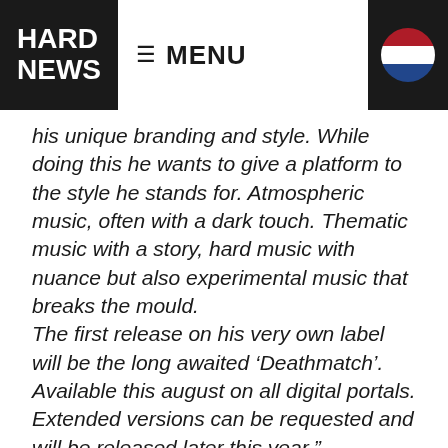HARD NEWS | MENU
his unique branding and style. While doing this he wants to give a platform to the style he stands for. Atmospheric music, often with a dark touch. Thematic music with a story, hard music with nuance but also experimental music that breaks the mould.
The first release on his very own label will be the long awaited ‘Deathmatch’. Available this august on all digital portals. Extended versions can be requested and will be released later this year.”
More information about Chris One and the label can be found here: Chris One Facebook